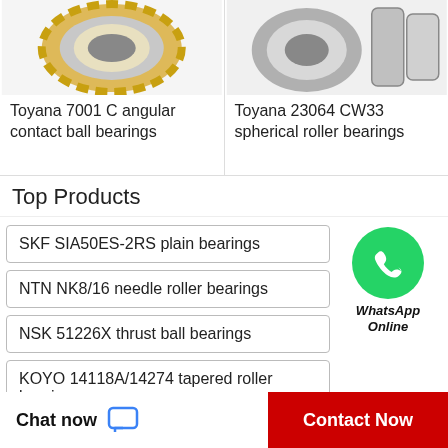[Figure (photo): Toyana 7001 C angular contact ball bearing, gold and silver colored metallic bearing photo cropped at top]
[Figure (photo): Toyana 23064 CW33 spherical roller bearings, multiple bearings disassembled, silver metallic, photo cropped at top]
Toyana 7001 C angular contact ball bearings
Toyana 23064 CW33 spherical roller bearings
Top Products
SKF SIA50ES-2RS plain bearings
[Figure (illustration): WhatsApp green circle logo with phone icon and italic bold text 'WhatsApp Online']
NTN NK8/16 needle roller bearings
NSK 51226X thrust ball bearings
KOYO 14118A/14274 tapered roller bearings
Chat now   Contact Now